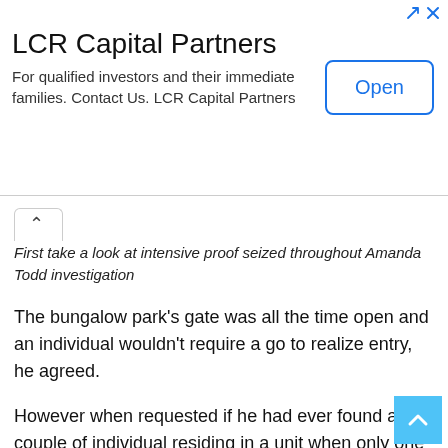[Figure (other): LCR Capital Partners advertisement banner with 'Open' button]
First take a look at intensive proof seized throughout Amanda Todd investigation
The bungalow park's gate was all the time open and an individual wouldn't require a go to realize entry, he agreed.
However when requested if he had ever found a couple of individual residing in a unit when only one individual had rented it, Wassenberg stated “fairly hardly ever,” including that such a state of affairs would have been seen shortly.
Learn extra:
Dutch police describe takedown of alleged sextortionist in…